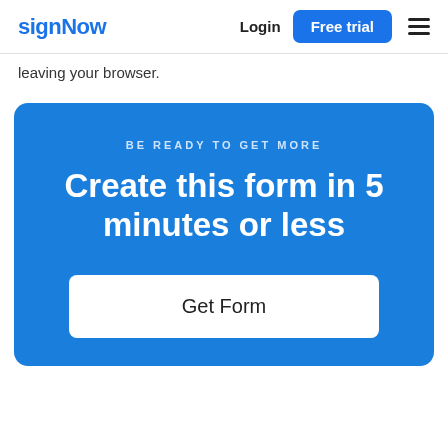signNow  Login  Free trial
leaving your browser.
[Figure (screenshot): Blue promotional card with text 'BE READY TO GET MORE', 'Create this form in 5 minutes or less', and a white 'Get Form' button]
Get Form